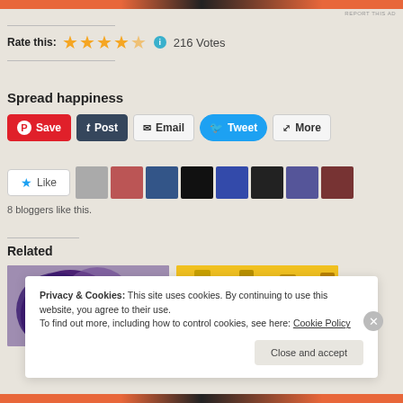[Figure (screenshot): Orange and black ad banner at top]
REPORT THIS AD
Rate this: ★★★★½  ⓘ  216 Votes
Spread happiness
[Figure (infographic): Social sharing buttons: Save (Pinterest), Post (Tumblr), Email, Tweet, More]
[Figure (infographic): Like button and 8 blogger avatar thumbnails]
8 bloggers like this.
Related
[Figure (photo): Related image left: abstract purple and black design]
[Figure (photo): Related image right: yellow/golden graphic with tall letter shapes]
Privacy & Cookies: This site uses cookies. By continuing to use this website, you agree to their use.
To find out more, including how to control cookies, see here: Cookie Policy
Close and accept